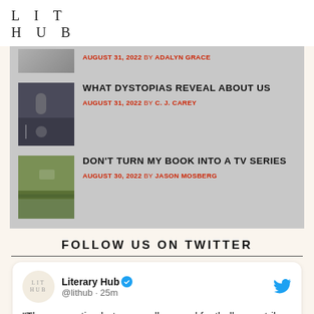LIT HUB
AUGUST 31, 2022 BY ADALYN GRACE
WHAT DYSTOPIAS REVEAL ABOUT US — AUGUST 31, 2022 BY C. J. CAREY
DON'T TURN MY BOOK INTO A TV SERIES — AUGUST 30, 2022 BY JASON MOSBERG
FOLLOW US ON TWITTER
"The connection between college and football now strikes many people as arbitrary, but